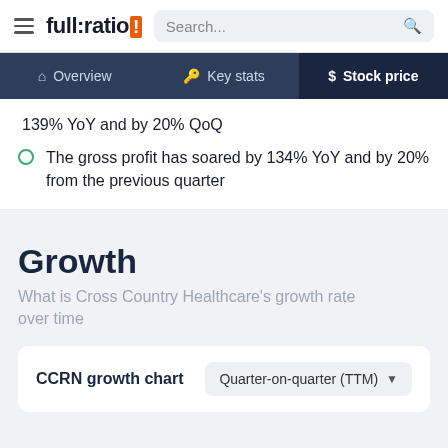full:ratio | Search...
139% YoY and by 20% QoQ
The gross profit has soared by 134% YoY and by 20% from the previous quarter
Growth
What is Cross Country Healthcare's growth rate over time
CCRN growth chart
Quarter-on-quarter (TTM)